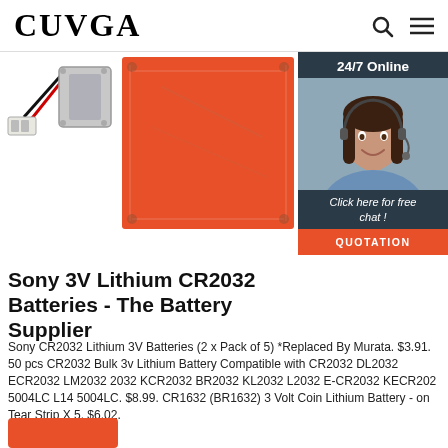CUVGA
[Figure (photo): Product photo showing a battery with cable connector and an orange/red square silicone heating pad, with a 24/7 online chat agent overlay in the top right corner featuring a woman with a headset and a QUOTATION button]
Sony 3V Lithium CR2032 Batteries - The Battery Supplier
Sony CR2032 Lithium 3V Batteries (2 x Pack of 5) *Replaced By Murata. $3.91. 50 pcs CR2032 Bulk 3v Lithium Battery Compatible with CR2032 DL2032 ECR2032 LM2032 2032 KCR2032 BR2032 KL2032 L2032 E-CR2032 KECR202 5004LC L14 5004LC. $8.99. CR1632 (BR1632) 3 Volt Coin Lithium Battery - on Tear Strip X 5. $6.02.